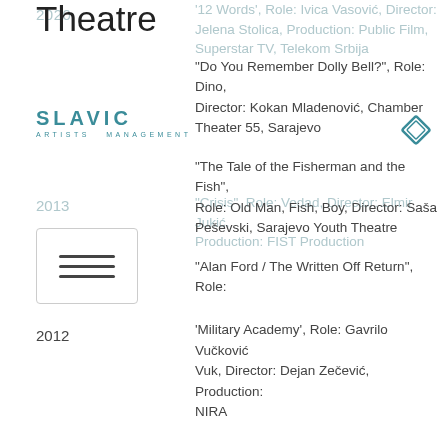2020
'12 Words', Role: Ivica Vasović, Director: Jelena Stolica, Production: Public Film, Superstar TV, Telekom Srbija
[Figure (logo): SLAVIC Artists Management logo in teal/dark cyan color]
[Figure (other): Diamond/rhombus decorative icon in teal color, top right]
[Figure (other): Hamburger menu icon (three horizontal lines) inside a rounded rectangle border]
2013
'Crisis', Role: Vedad, Director: Elmir Jukić, Production: FIST Production
2012
'Military Academy', Role: Gavrilo Vučković Vuk, Director: Dejan Zečević, Production: NIRA
Theatre
"Do You Remember Dolly Bell?", Role: Dino, Director: Kokan Mladenović, Chamber Theater 55, Sarajevo
"The Tale of the Fisherman and the Fish", Role: Old Man, Fish, Boy, Director: Saša Peševski, Sarajevo Youth Theatre
"Alan Ford / The Written Off Return", Role: